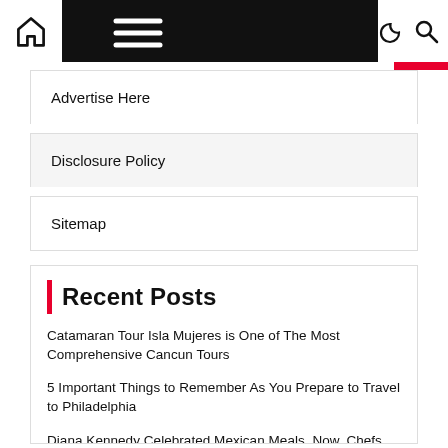Navigation bar with home icon, hamburger menu, moon icon, and search icon
Advertise Here
Disclosure Policy
Sitemap
Recent Posts
Catamaran Tour Isla Mujeres is One of The Most Comprehensive Cancun Tours
5 Important Things to Remember As You Prepare to Travel to Philadelphia
Diana Kennedy Celebrated Mexican Meals. Now, Chefs and Food stuff Writers Honor Her